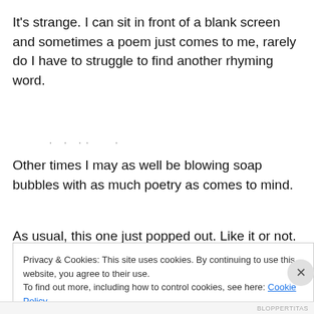It's strange. I can sit in front of a blank screen and sometimes a poem just comes to me, rarely do I have to struggle to find another rhyming word.
. . . ..
Other times I may as well be blowing soap bubbles with as much poetry as comes to mind.
As usual, this one just popped out. Like it or not. If not,
Privacy & Cookies: This site uses cookies. By continuing to use this website, you agree to their use.
To find out more, including how to control cookies, see here: Cookie Policy